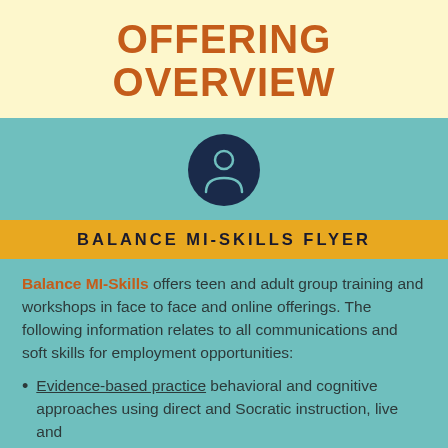OFFERING OVERVIEW
[Figure (illustration): Dark navy circle icon with a person/user silhouette outline in teal/cyan on a teal background]
BALANCE MI-SKILLS FLYER
Balance MI-Skills offers teen and adult group training and workshops in face to face and online offerings. The following information relates to all communications and soft skills for employment opportunities:
Evidence-based practice behavioral and cognitive approaches using direct and Socratic instruction, live and